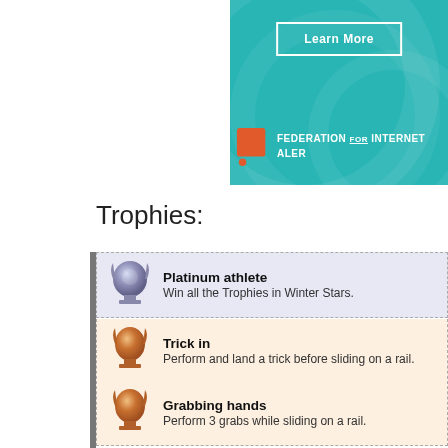[Figure (screenshot): Teal/cyan banner with 'Learn More' button and Federation for Internet Alert logo and text]
Trophies:
Platinum athlete — Win all the Trophies in Winter Stars.
Trick in — Perform and land a trick before sliding on a rail.
Grabbing hands — Perform 3 grabs while sliding on a rail.
Magnetic rails — Slide on 4 rails within one race.
Versatile victory